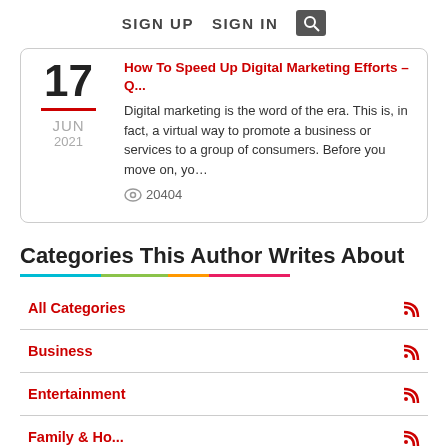SIGN UP  SIGN IN  🔍
How To Speed Up Digital Marketing Efforts – Q...
Digital marketing is the word of the era. This is, in fact, a virtual way to promote a business or services to a group of consumers. Before you move on, yo…
20404
Categories This Author Writes About
All Categories
Business
Entertainment
Family & Ho...